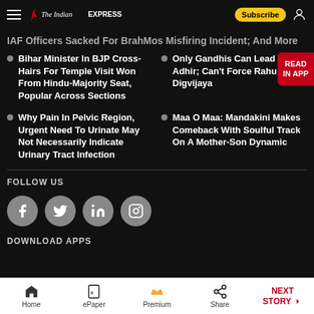The Indian Express
IAF Officers Sacked For BrahMos Misfiring Incident; And More
Bihar Minister In BJP Cross-Hairs For Temple Visit Won From Hindu-Majority Seat, Popular Across Sections
Only Gandhis Can Lead Cong: Adhir; Can't Force Rahul, Says Digvijaya
Why Pain In Pelvic Region, Urgent Need To Urinate May Not Necessarily Indicate Urinary Tract Infection
Maa O Maa: Mandakini Makes Comeback With Soulful Track On A Mother-Son Dynamic
FOLLOW US
[Figure (infographic): Social media icons: Facebook, Twitter, LinkedIn, Instagram]
DOWNLOAD APPS
Home | ePaper | Premium | Share | NEXT STORY